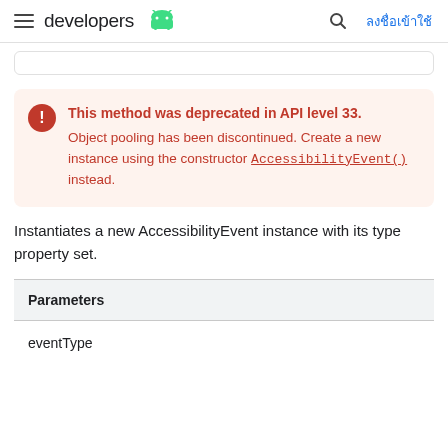developers [android logo] | [search] ลงชื่อเข้าใช้
This method was deprecated in API level 33. Object pooling has been discontinued. Create a new instance using the constructor AccessibilityEvent() instead.
Instantiates a new AccessibilityEvent instance with its type property set.
| Parameters |
| --- |
| eventType |